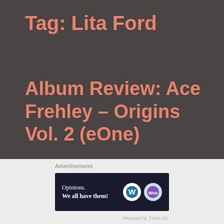Tag: Lita Ford
Album Review: Ace Frehley – Origins Vol. 2 (eOne)
[Figure (photo): Album cover for Ace Frehley Origins Vol. 2 showing a dark blue space/night scene with a glowing moon, lightning bolt symbol, and light beams, with text 'ACE FREHLEY' on the left and 'ORIGINS VOL.2' on the right]
Advertisements
[Figure (screenshot): WordPress advertisement banner with dark background showing 'Opinions. We all have them!' with WordPress and WooCommerce logos]